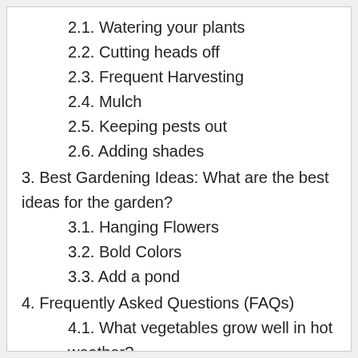2.1. Watering your plants
2.2. Cutting heads off
2.3. Frequent Harvesting
2.4. Mulch
2.5. Keeping pests out
2.6. Adding shades
3. Best Gardening Ideas: What are the best ideas for the garden?
3.1. Hanging Flowers
3.2. Bold Colors
3.3. Add a pond
4. Frequently Asked Questions (FAQs)
4.1. What vegetables grow well in hot weather?
4.2. When should you start preparing a garden?
5. Final Words: